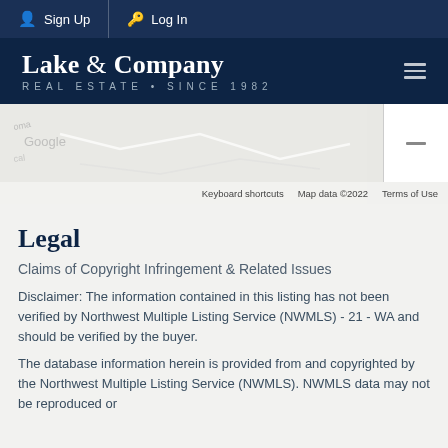Sign Up   Log In
[Figure (logo): Lake & Company Real Estate Since 1982 logo on dark navy background]
[Figure (screenshot): Google Maps partial screenshot showing map data ©2022 with keyboard shortcuts and terms of use labels]
Legal
Claims of Copyright Infringement & Related Issues
Disclaimer: The information contained in this listing has not been verified by Northwest Multiple Listing Service (NWMLS) - 21 - WA and should be verified by the buyer.
The database information herein is provided from and copyrighted by the Northwest Multiple Listing Service (NWMLS). NWMLS data may not be reproduced or redistributed and is for the use of individuals...